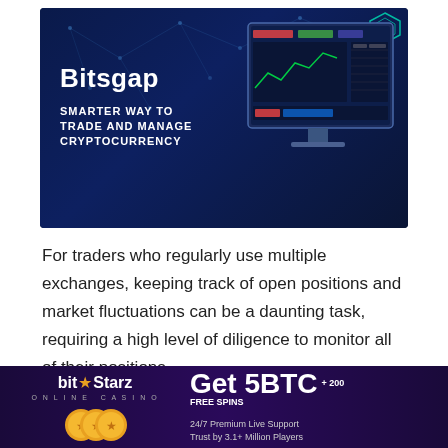[Figure (screenshot): Bitsgap promotional banner with dark blue background, network/blockchain node pattern, text 'Bitsgap - SMARTER WAY TO TRADE AND MANAGE CRYPTOCURRENCY', and a monitor showing trading dashboard]
For traders who regularly use multiple exchanges, keeping track of open positions and market fluctuations can be a daunting task, requiring a high level of diligence to monitor all of their positions.
[Figure (infographic): BitStarz Online Casino advertisement banner: 'Get 5BTC + 200 FREE SPINS - 24/7 Premium Live Support - Trust by 3.1+ Million Players']